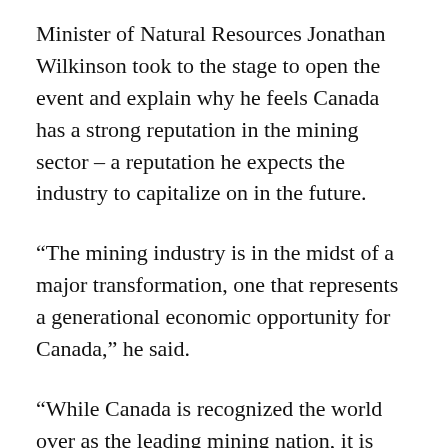Minister of Natural Resources Jonathan Wilkinson took to the stage to open the event and explain why he feels Canada has a strong reputation in the mining sector – a reputation he expects the industry to capitalize on in the future.
“The mining industry is in the midst of a major transformation, one that represents a generational economic opportunity for Canada,” he said.
“While Canada is recognized the world over as the leading mining nation, it is perhaps our environmental, social and governmental expertise that truly sets us apart.”
Wilkinson also, however, acknowledged the assorted